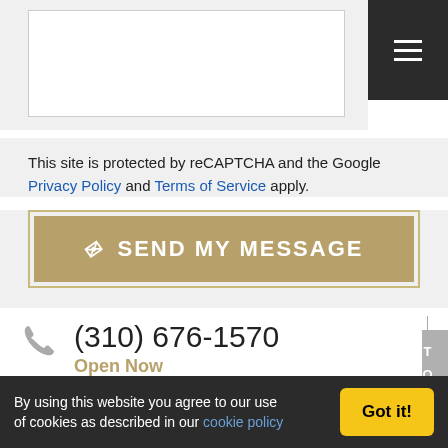[Figure (screenshot): White input text area box within a grey form background]
This site is protected by reCAPTCHA and the Google Privacy Policy and Terms of Service apply.
[Figure (other): Send My Message button - tan/gold colored button with paper plane icon and text SEND MY MESSAGE]
(310) 676-1570
Open Now
| Monday | 09:00 AM-05:00 PM |
| Tuesday | 09:00 AM-05:00 PM |
By using this website you agree to our use of cookies as described in our cookie policy